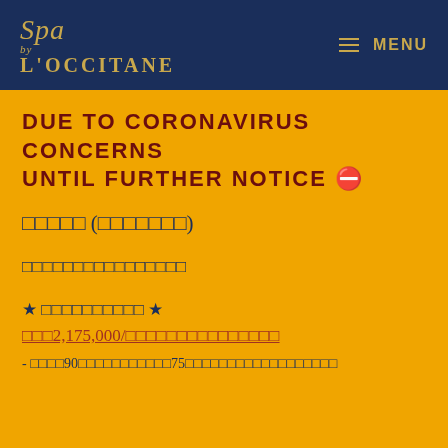Spa by L'OCCITANE — MENU
DUE TO CORONAVIRUS CONCERNS UNTIL FURTHER NOTICE 🛑
□□□□□ (□□□□□□□)
□□□□□□□□□□□□□□□□
★ □□□□□□□□□□ ★
□□□2,175,000/□□□□□□□□□□□□□□□
- □□□□90□□□□□□□□□□□□75□□□□□□□□□□□□□□□□□□